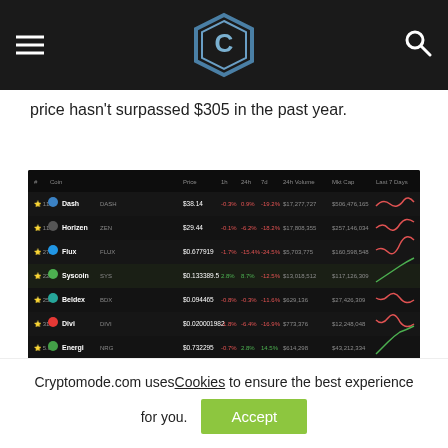Cryptomode.com - hamburger menu, logo, search icon
price hasn't surpassed $305 in the past year.
[Figure (screenshot): A cryptocurrency table showing coins including Dash, Horizen, Flux, Syscoin, Beldex, Divi, Energi, Dean with columns for price, 1h%, 24h%, 7d%, 24h Volume, Mkt Cap, Last 7 Days sparklines on a dark background.]
Other prominent node projects include Horizen, Flux, Syscoin, Beldex, Divi, Energi, etc. Except for Energi, which
Cryptomode.com uses Cookies to ensure the best experience for you.
Accept